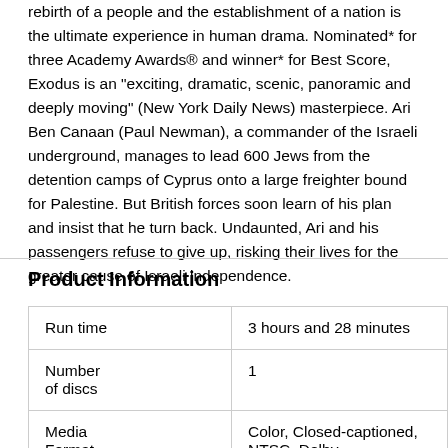rebirth of a people and the establishment of a nation is the ultimate experience in human drama. Nominated* for three Academy Awards® and winner* for Best Score, Exodus is an "exciting, dramatic, scenic, panoramic and deeply moving" (New York Daily News) masterpiece. Ari Ben Canaan (Paul Newman), a commander of the Israeli underground, manages to lead 600 Jews from the detention camps of Cyprus onto a large freighter bound for Palestine. But British forces soon learn of his plan and insist that he turn back. Undaunted, Ari and his passengers refuse to give up, risking their lives for the greater cause of Israeli independence.
Product Information
| Run time | 3 hours and 28 minutes |
| Number of discs | 1 |
| Media Format | Color, Closed-captioned, NTSC, Dolby, Widescreen, Dubbed, Multiple Formats, |